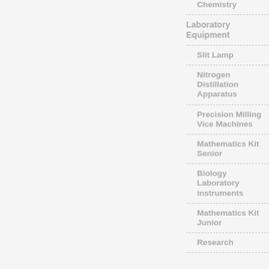Chemistry
Laboratory Equipment
Slit Lamp
Nitrogen Distillation Apparatus
Precision Milling Vice Machines
Mathematics Kit Senior
Biology Laboratory instruments
Mathematics Kit Junior
Research